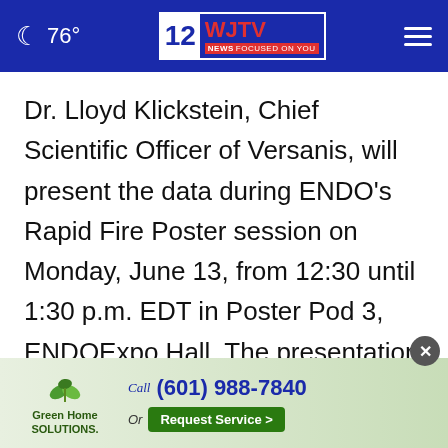🌙 76° | WJTV 12 News FOCUSED ON YOU
Dr. Lloyd Klickstein, Chief Scientific Officer of Versanis, will present the data during ENDO's Rapid Fire Poster session on Monday, June 13, from 12:30 until 1:30 p.m. EDT in Poster Pod 3, ENDOExpo Hall. The presentation is entitled "The Dramatic Fat Mass Loss Caused by Bimagrumab is Similar in Diabetic and Non-diabetic Patients." The results of the analysis unde... spurr...
[Figure (other): Green Home Solutions advertisement banner showing logo with green leaves, phone number Call (601) 988-7840, and a Request Service button. Partially obscured by ad overlay.]